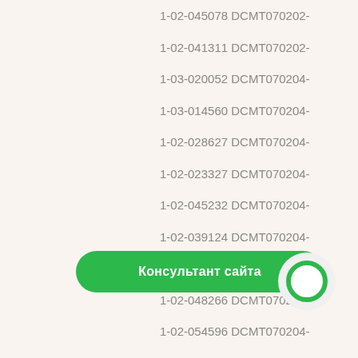1-02-045078 DCMT070202-
1-02-041311 DCMT070202-
1-03-020052 DCMT070204-
1-03-014560 DCMT070204-
1-02-028627 DCMT070204-
1-02-023327 DCMT070204-
1-02-045232 DCMT070204-
1-02-039124 DCMT070204-
1-02-047911 DCMT070204-
1-02-048266 DCMT070204-
1-02-054596 DCMT070204-
1-02-034304 DCMT070204-
1-02-051372 DCMT070204-